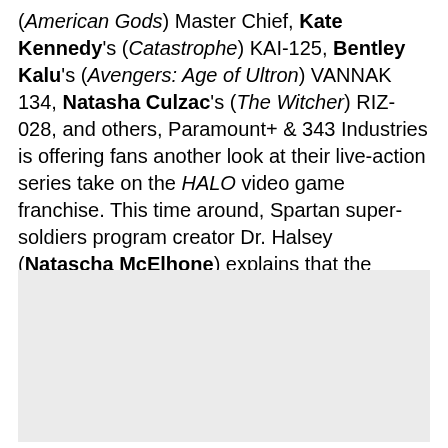(American Gods) Master Chief, Kate Kennedy's (Catastrophe) KAI-125, Bentley Kalu's (Avengers: Age of Ultron) VANNAK 134, Natasha Culzac's (The Witcher) RIZ-028, and others, Paramount+ & 343 Industries is offering fans another look at their live-action series take on the HALO video game franchise. This time around, Spartan super-soldiers program creator Dr. Halsey (Natascha McElhone) explains that the difference between extinction and hope lies with Master Chief and his team, and how well they can protect humanity.
[Figure (photo): A large light gray rectangular image placeholder block.]